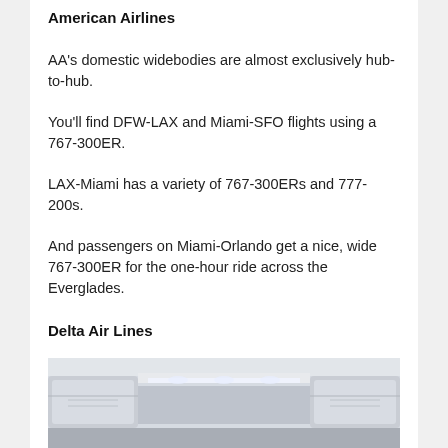American Airlines
AA's domestic widebodies are almost exclusively hub-to-hub.
You'll find DFW-LAX and Miami-SFO flights using a 767-300ER.
LAX-Miami has a variety of 767-300ERs and 777-200s.
And passengers on Miami-Orlando get a nice, wide 767-300ER for the one-hour ride across the Everglades.
Delta Air Lines
[Figure (photo): Interior of a commercial airplane cabin showing overhead bins and ceiling lighting]